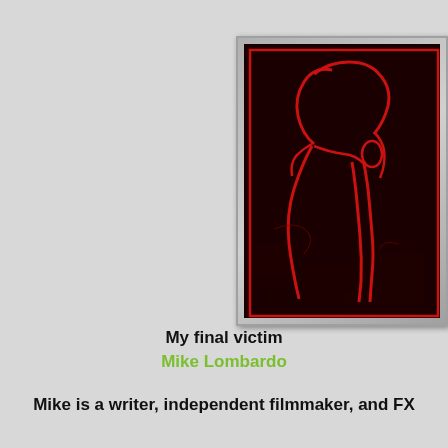[Figure (illustration): Dark horror-style illustration with a red outlined silhouette of a person with a long beak-like nose/mask against a very dark background, framed by a red rectangle border. The image is displayed inside a silver/gray frame.]
My final victim
Mike Lombardo
Mike is a writer, independent filmmaker, and FX